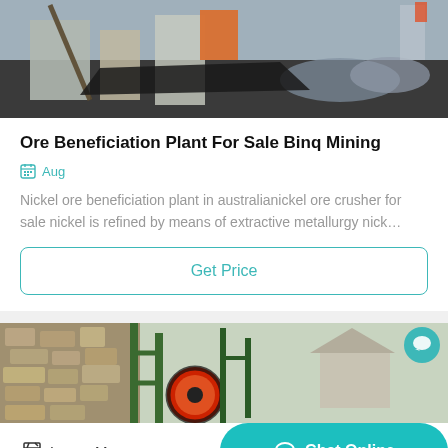[Figure (photo): Construction/mining site with workers and equipment, concrete blocks, rope, machinery on asphalt surface.]
Ore Beneficiation Plant For Sale Binq Mining
Aug
Nickel ore beneficiation plant in australianickel ore crusher for sale nickel is refined by means of extractive metallurgy nick…
Get Price
[Figure (photo): Mining or agricultural machinery with red and orange wheel, green metal frame, stone wall in background.]
Leave Message
Chat Online